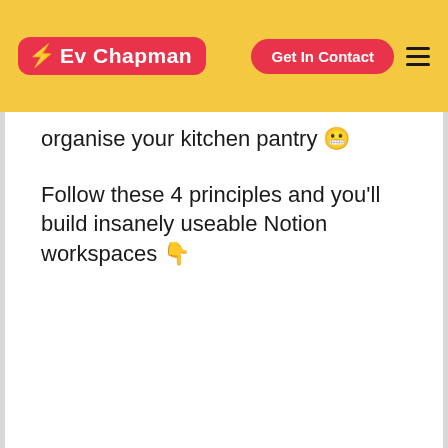Ev Chapman — Get In Contact
organise your kitchen pantry 😬
Follow these 4 principles and you'll build insanely useable Notion workspaces 👇